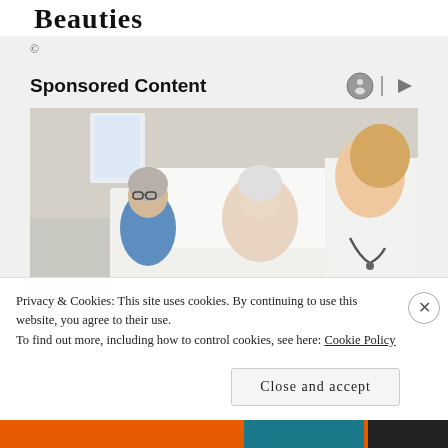Beauties
©
Sponsored Content
[Figure (photo): An elderly woman lying in a hospital bed, with a man in a blue shirt (likely a family member) seated beside her, and a female doctor in a white coat with a stethoscope speaking with them.]
Privacy & Cookies: This site uses cookies. By continuing to use this website, you agree to their use.
To find out more, including how to control cookies, see here: Cookie Policy
Close and accept